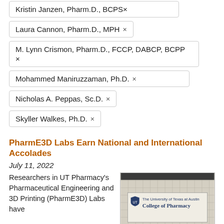Kristin Janzen, Pharm.D., BCPS ×
Laura Cannon, Pharm.D., MPH ×
M. Lynn Crismon, Pharm.D., FCCP, DABCP, BCPP ×
Mohammed Maniruzzaman, Ph.D. ×
Nicholas A. Peppas, Sc.D. ×
Skyller Walkes, Ph.D. ×
PharmE3D Labs Earn National and International Accolades
July 11, 2022
Researchers in UT Pharmacy's Pharmaceutical Engineering and 3D Printing (PharmE3D) Labs have earned a bevy of national and international awards for
[Figure (photo): Sign reading 'The University of Texas at Austin College of Pharmacy' on a building exterior]